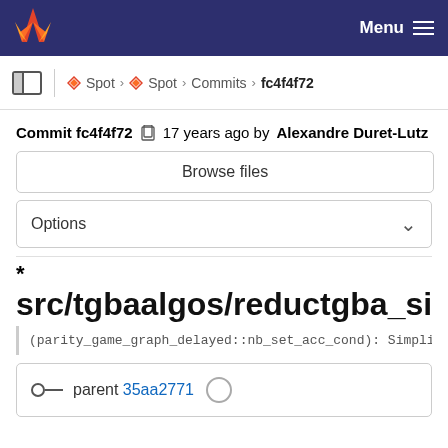GitLab — Menu
Spot > Spot > Commits > fc4f4f72
Commit fc4f4f72  17 years ago by Alexandre Duret-Lutz
Browse files
Options
*
src/tgbaalgos/reductgba_sim_del.cc
(parity_game_graph_delayed::nb_set_acc_cond): Simpli
parent 35aa2771